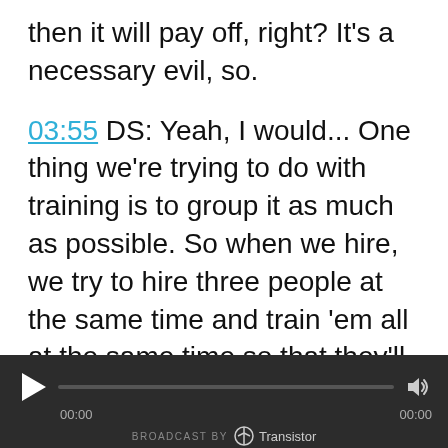then it will pay off, right? It's a necessary evil, so.
03:55 DS: Yeah, I would... One thing we're trying to do with training is to group it as much as possible. So when we hire, we try to hire three people at the same time and train 'em all at the same time so that they'll get that. And then we've also started screencasting and recording all of our training sessions. So later we could have someone else do the training and they can refer back to that as a reference or eventually dial it in to the point where it's all
[Figure (other): Audio player widget with dark background showing play button, progress bar, volume icon, time labels 00:00 and 00:00, and 'BROADCAST BY Transistor' branding at the bottom.]